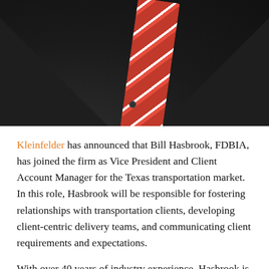[Figure (photo): Close-up photo of a man in a dark suit jacket wearing a red and white striped tie, cropped to show chest and lower face area only.]
Kleinfelder has announced that Bill Hasbrook, FDBIA, has joined the firm as Vice President and Client Account Manager for the Texas transportation market.  In this role, Hasbrook will be responsible for fostering relationships with transportation clients, developing client-centric delivery teams, and communicating client requirements and expectations.
With over 40 years of industry experience, Hasbrook is well versed in all project delivery methods and has operated on both the construction and design side for a multi-billion-dollar portfolio of projects for transportation departments, utility and energy providers, commercial and industrial owners, and state